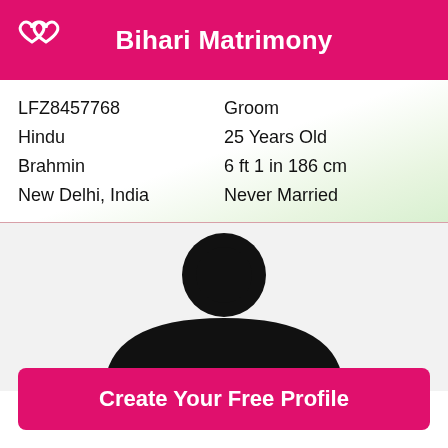Bihari Matrimony
| LFZ8457768 | Groom |
| Hindu | 25 Years Old |
| Brahmin | 6 ft 1 in 186 cm |
| New Delhi, India | Never Married |
[Figure (illustration): Silhouette of a person (generic user avatar), showing the top half of a person outline in black on a light gray background.]
Create Your Free Profile